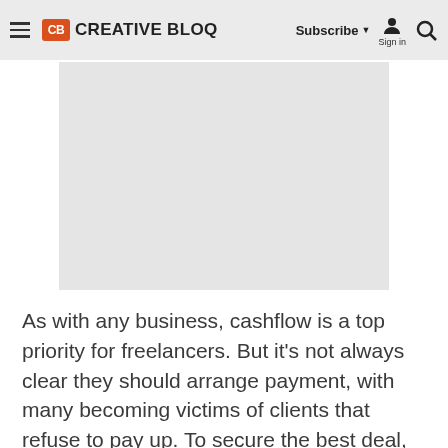Creative Bloq — Subscribe | Sign in | Search
[Figure (photo): Placeholder/advertisement image area with light gray background]
As with any business, cashflow is a top priority for freelancers. But it's not always clear they should arrange payment, with many becoming victims of clients that refuse to pay up. To secure the best deal, leading web experts offer some expert advice